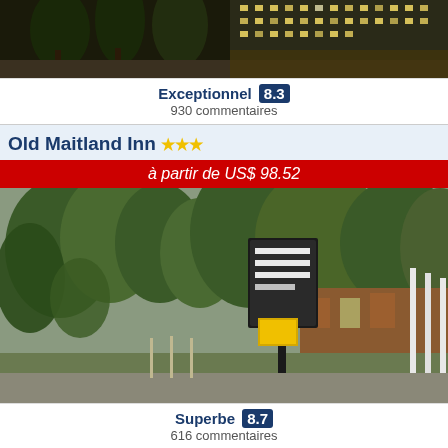[Figure (photo): Hotel exterior night photo showing illuminated building with palm trees]
Exceptionnel 8.3
930 commentaires
Old Maitland Inn ★★★
à partir de US$ 98.52
[Figure (photo): Old Maitland Inn exterior with signage visible among trees]
Superbe 8.7
616 commentaires
Grandview Apartments ★★★★